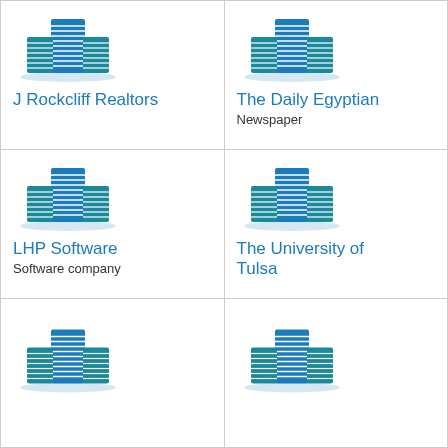[Figure (logo): Blue building/skyscraper icon for J Rockcliff Realtors]
J Rockcliff Realtors
[Figure (logo): Blue building/skyscraper icon for The Daily Egyptian]
The Daily Egyptian
Newspaper
[Figure (logo): Blue building/skyscraper icon for LHP Software]
LHP Software
Software company
[Figure (logo): Blue building/skyscraper icon for The University of Tulsa]
The University of Tulsa
[Figure (logo): Blue building/skyscraper icon (bottom left, partially visible)]
[Figure (logo): Blue building/skyscraper icon (bottom right, partially visible)]